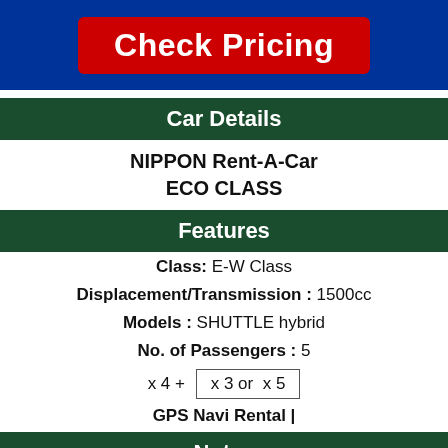Check Pricing
Car Details
NIPPON Rent-A-Car
ECO CLASS
Features
Class: E-W Class
Displacement/Transmission : 1500cc
Models : SHUTTLE hybrid
No. of Passengers : 5
x 4 +  x 3 or  x 5
GPS Navi Rental |
Notes
✿All cars come equipped with Mandain_comma_ Korean and English